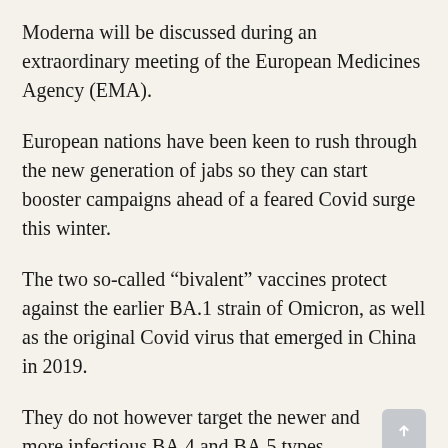Moderna will be discussed during an extraordinary meeting of the European Medicines Agency (EMA).
European nations have been keen to rush through the new generation of jabs so they can start booster campaigns ahead of a feared Covid surge this winter.
The two so-called “bivalent” vaccines protect against the earlier BA.1 strain of Omicron, as well as the original Covid virus that emerged in China in 2019.
They do not however target the newer and more infectious BA.4 and BA.5 types, which have emerged in recent months as the dominant strains worldwide.
“The aim of the meeting is to conclude the evaluation of